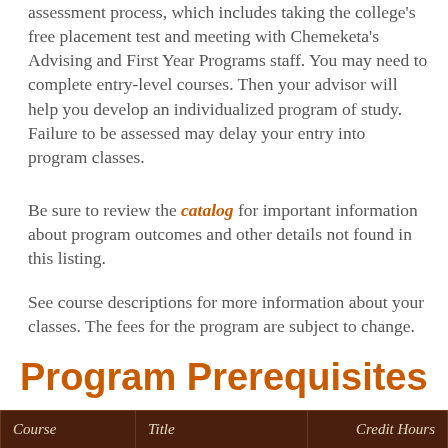assessment process, which includes taking the college's free placement test and meeting with Chemeketa's Advising and First Year Programs staff. You may need to complete entry-level courses. Then your advisor will help you develop an individualized program of study. Failure to be assessed may delay your entry into program classes.
Be sure to review the catalog for important information about program outcomes and other details not found in this listing.
See course descriptions for more information about your classes. The fees for the program are subject to change.
Program Prerequisites
| Course | Title | Credit Hours |
| --- | --- | --- |
| BI231 | Human Anatomy and Physiology | 4 |